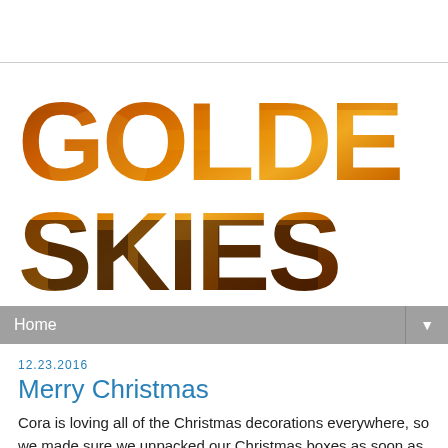[Figure (logo): Golden Skies blog logo with large bold text 'GOLDEN SKIES' filled with a golden sunset sky photograph texture]
Home ▼
12.23.2016
Merry Christmas
Cora is loving all of the Christmas decorations everywhere, so we made sure we unpacked our Christmas boxes as soon as possible.  We've had our tree up for a couple weeks and